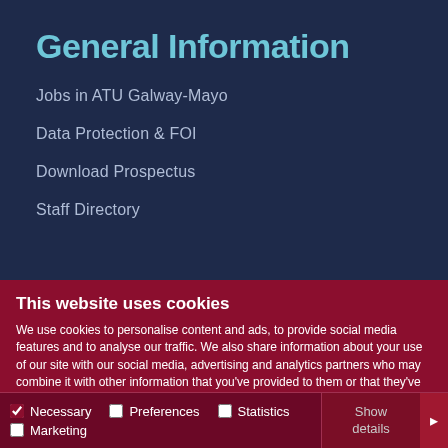General Information
Jobs in ATU Galway-Mayo
Data Protection & FOI
Download Prospectus
Staff Directory
This website uses cookies
We use cookies to personalise content and ads, to provide social media features and to analyse our traffic. We also share information about your use of our site with our social media, advertising and analytics partners who may combine it with other information that you've provided to them or that they've collected from your use of their services.
Allow selection | Allow all cookies | Necessary | Preferences | Statistics | Marketing | Show details